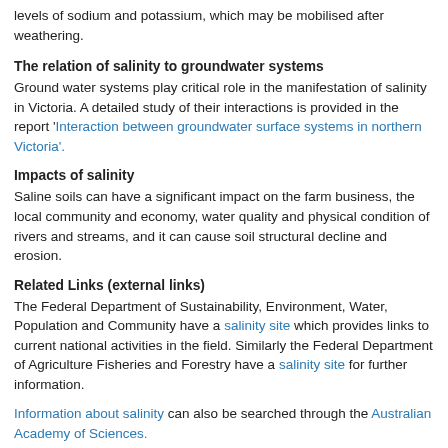levels of sodium and potassium, which may be mobilised after weathering.
The relation of salinity to groundwater systems
Ground water systems play critical role in the manifestation of salinity in Victoria. A detailed study of their interactions is provided in the report 'Interaction between groundwater surface systems in northern Victoria'.
Impacts of salinity
Saline soils can have a significant impact on the farm business, the local community and economy, water quality and physical condition of rivers and streams, and it can cause soil structural decline and erosion.
Related Links (external links)
The Federal Department of Sustainability, Environment, Water, Population and Community have a salinity site which provides links to current national activities in the field. Similarly the Federal Department of Agriculture Fisheries and Forestry have a salinity site for further information.
Information about salinity can also be searched through the Australian Academy of Sciences.